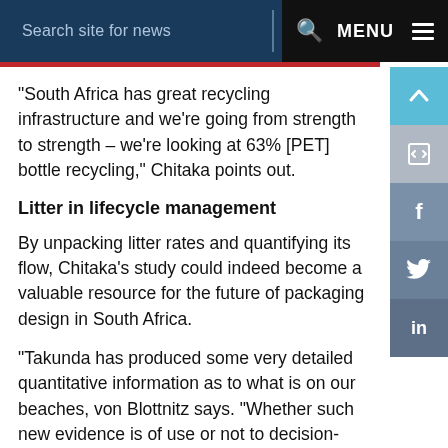Search site for news  MENU
“South Africa has great recycling infrastructure and we’re going from strength to strength – we’re looking at 63% [PET] bottle recycling,” Chitaka points out.
Litter in lifecycle management
By unpacking litter rates and quantifying its flow, Chitaka’s study could indeed become a valuable resource for the future of packaging design in South Africa.
“Takunda has produced some very detailed quantitative information as to what is on our beaches, von Blottnitz says. “Whether such new evidence is of use or not to decision-makers remains to be seen when she submits her thesis.”
“It’s a quantification thing,” she says. “Let’s put numbers